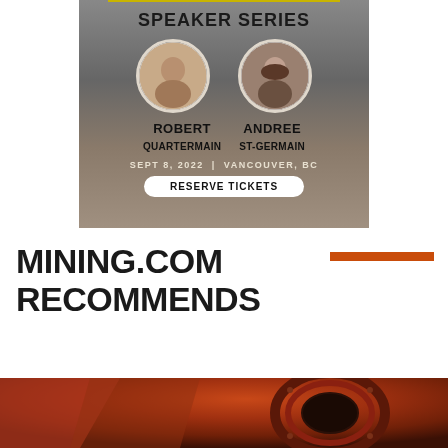[Figure (photo): Speaker Series advertisement banner featuring two circular headshots of speakers Robert Quartermain and Andree St-Germain on a gray rocky background. Text reads SPEAKER SERIES, SEPT 8, 2022 | VANCOUVER, BC, with a RESERVE TICKETS button.]
MINING.COM RECOMMENDS
[Figure (photo): Bottom partial image showing a copper/rust-colored mining tunnel or pipe interior with circular metallic structure, viewed from inside.]